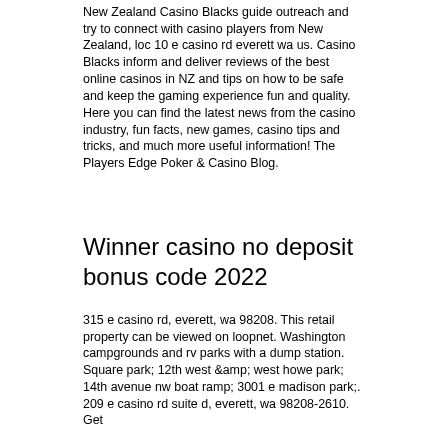New Zealand Casino Blacks guide outreach and try to connect with casino players from New Zealand, loc 10 e casino rd everett wa us. Casino Blacks inform and deliver reviews of the best online casinos in NZ and tips on how to be safe and keep the gaming experience fun and quality. Here you can find the latest news from the casino industry, fun facts, new games, casino tips and tricks, and much more useful information! The Players Edge Poker & Casino Blog.
Winner casino no deposit bonus code 2022
315 e casino rd, everett, wa 98208. This retail property can be viewed on loopnet. Washington campgrounds and rv parks with a dump station. Square park; 12th west &amp; west howe park; 14th avenue nw boat ramp; 3001 e madison park;. 209 e casino rd suite d, everett, wa 98208-2610. Get